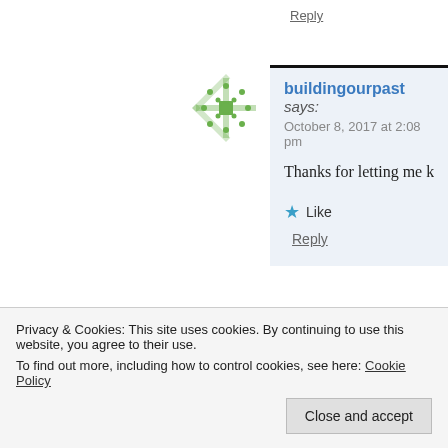Reply
buildingourpast says:
October 8, 2017 at 2:08 pm
Thanks for letting me know – hope they did
★ Like
Reply
Andrew K says:
October 6, 2017 at 9:18 pm
Privacy & Cookies: This site uses cookies. By continuing to use this website, you agree to their use.
To find out more, including how to control cookies, see here: Cookie Policy
Close and accept